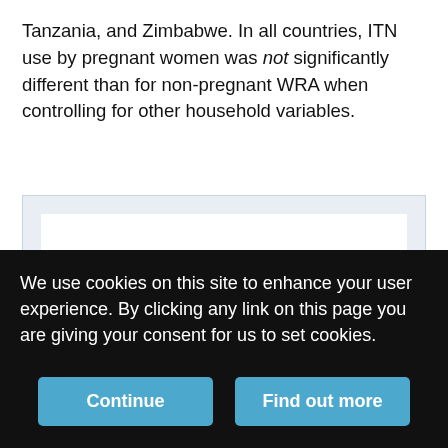Tanzania, and Zimbabwe. In all countries, ITN use by pregnant women was not significantly different than for non-pregnant WRA when controlling for other household variables.
[Figure (other): Blank white figure area with light blue-gray background border, content not visible (obscured by cookie consent overlay)]
We use cookies on this site to enhance your user experience. By clicking any link on this page you are giving your consent for us to set cookies.
Continue | Find out more